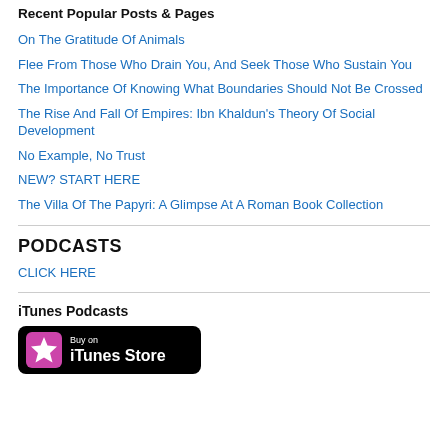Recent Popular Posts & Pages
On The Gratitude Of Animals
Flee From Those Who Drain You, And Seek Those Who Sustain You
The Importance Of Knowing What Boundaries Should Not Be Crossed
The Rise And Fall Of Empires: Ibn Khaldun's Theory Of Social Development
No Example, No Trust
NEW? START HERE
The Villa Of The Papyri: A Glimpse At A Roman Book Collection
PODCASTS
CLICK HERE
iTunes Podcasts
[Figure (logo): iTunes Store Buy on iTunes badge — black rounded rectangle with pink star icon and white text 'Buy on iTunes Store']